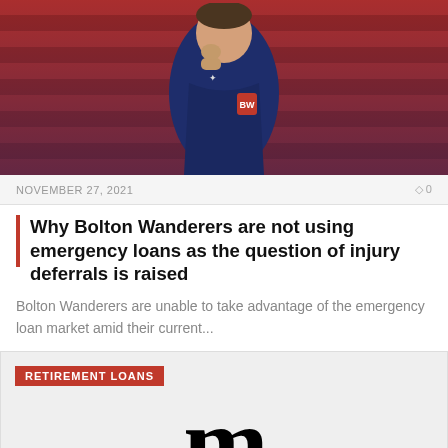[Figure (photo): Person in navy blue Bolton Wanderers jacket standing in front of red stadium seats]
NOVEMBER 27, 2021
0
Why Bolton Wanderers are not using emergency loans as the question of injury deferrals is raised
Bolton Wanderers are unable to take advantage of the emergency loan market amid their current...
[Figure (logo): The Manila Times newspaper logo with gothic M lettermark and blue/red horizontal bars, with tag RETIREMENT LOANS]